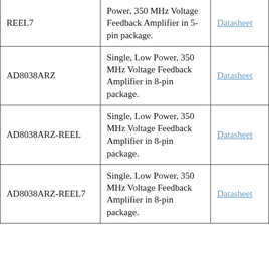| Part Number | Description | Link |
| --- | --- | --- |
| REEL7 | Power, 350 MHz Voltage Feedback Amplifier in 5-pin package. | Datasheet |
| AD8038ARZ | Single, Low Power, 350 MHz Voltage Feedback Amplifier in 8-pin package. | Datasheet |
| AD8038ARZ-REEL | Single, Low Power, 350 MHz Voltage Feedback Amplifier in 8-pin package. | Datasheet |
| AD8038ARZ-REEL7 | Single, Low Power, 350 MHz Voltage Feedback Amplifier in 8-pin package. | Datasheet |